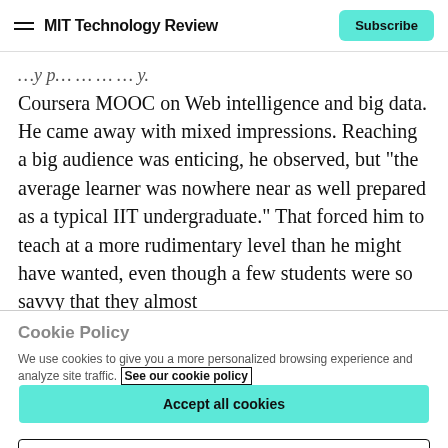MIT Technology Review
Coursera MOOC on Web intelligence and big data. He came away with mixed impressions. Reaching a big audience was enticing, he observed, but “the average learner was nowhere near as well prepared as a typical IIT undergraduate.” That forced him to teach at a more rudimentary level than he might have wanted, even though a few students were so savvy that they almost
Cookie Policy
We use cookies to give you a more personalized browsing experience and analyze site traffic. See our cookie policy
Accept all cookies
Cookies settings